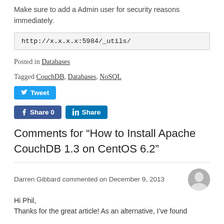Make sure to add a Admin user for security reasons immediately.
http://x.x.x.x:5984/_utils/
Posted in Databases
Tagged CouchDB, Databases, NoSQL
[Figure (infographic): Social sharing buttons: Tweet (Twitter/blue), Share 0 (Facebook/blue), Share (LinkedIn/blue)]
Comments for “How to Install Apache CouchDB 1.3 on CentOS 6.2”
Darren Gibbard commented on December 9, 2013
Hi Phil,
Thanks for the great article! As an alternative, I’ve found that the following allows more recent CentOS 6 users to...